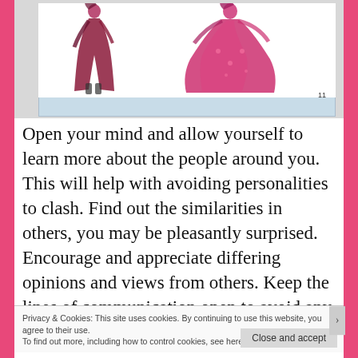[Figure (illustration): Fashion illustration showing two figures in pink/magenta dresses on a light blue book page background, with page number 11]
Open your mind and allow yourself to learn more about the people around you. This will help with avoiding personalities to clash. Find out the similarities in others, you may be pleasantly surprised. Encourage and appreciate differing opinions and views from others. Keep the lines of communication open to avoid any
Privacy & Cookies: This site uses cookies. By continuing to use this website, you agree to their use.
To find out more, including how to control cookies, see here: Cookie Policy
Close and accept